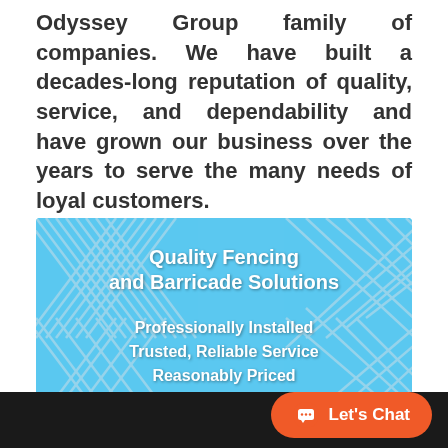Odyssey Group family of companies. We have built a decades-long reputation of quality, service, and dependability and have grown our business over the years to serve the many needs of loyal customers.
[Figure (illustration): Blue banner with chain-link fence background showing text: 'Quality Fencing and Barricade Solutions' and 'Professionally Installed Trusted, Reliable Service Reasonably Priced']
Let's Chat